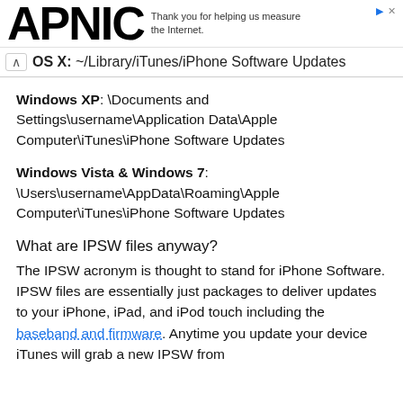APNIC — Thank you for helping us measure the Internet.
OS X: ~/Library/iTunes/iPhone Software Updates
Windows XP: \Documents and Settings\username\Application Data\Apple Computer\iTunes\iPhone Software Updates
Windows Vista & Windows 7: \Users\username\AppData\Roaming\Apple Computer\iTunes\iPhone Software Updates
What are IPSW files anyway?
The IPSW acronym is thought to stand for iPhone Software. IPSW files are essentially just packages to deliver updates to your iPhone, iPad, and iPod touch including the baseband and firmware. Anytime you update your device iTunes will grab a new IPSW from